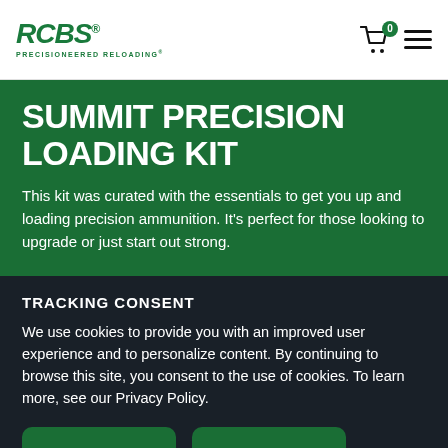RCBS PRECISIONEERED RELOADING
SUMMIT PRECISION LOADING KIT
This kit was curated with the essentials to get you up and loading precision ammunition. It's perfect for those looking to upgrade or just start out strong.
TRACKING CONSENT
We use cookies to provide you with an improved user experience and to personalize content. By continuing to browse this site, you consent to the use of cookies. To learn more, see our Privacy Policy.
YES
NO